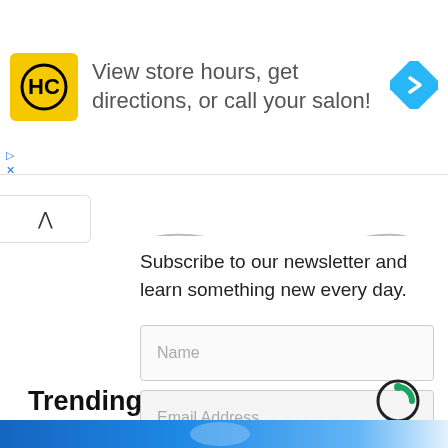[Figure (other): Advertisement banner for HC salon with yellow square logo, text 'View store hours, get directions, or call your salon!', and blue diamond navigation arrow icon]
Subscribe to our newsletter and learn something new every day.
Name
Email Address
Subscribe
Trending
[Figure (other): Partial blue image at bottom of page, appears to be a photo with blue tones]